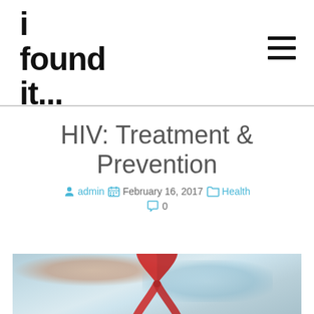i found it...
HIV: Treatment & Prevention
admin   February 16, 2017   Health   0
[Figure (photo): A blurred photo showing a person wearing a light blue garment with a red HIV/AIDS awareness ribbon]